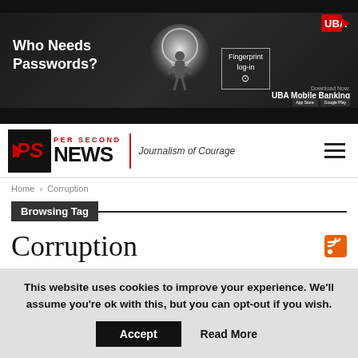[Figure (photo): UBA Mobile Banking advertisement banner showing 'Who Needs Passwords?' with a figure in a keyhole and Fingerprint log-in text]
PER SECOND NEWS | Journalism of Courage
Home > Corruption
Browsing Tag
Corruption
This website uses cookies to improve your experience. We'll assume you're ok with this, but you can opt-out if you wish. Accept  Read More